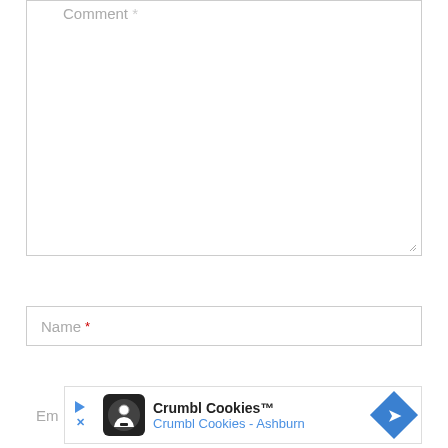[Figure (screenshot): Comment text area input field with label 'Comment *' and resize handle at bottom right]
[Figure (screenshot): Name input field with label 'Name *' (asterisk in red)]
[Figure (screenshot): Email input field (partially visible) with an advertisement overlay for Crumbl Cookies - Ashburn with logo, text, and navigation arrow]